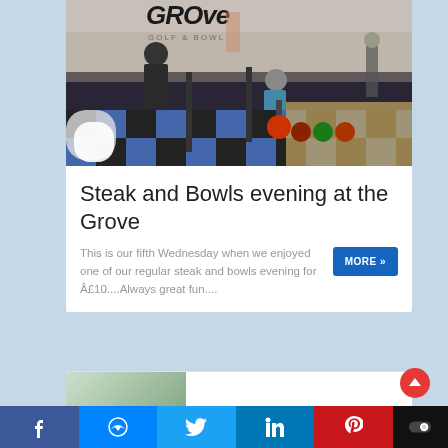[Figure (photo): Indoor bowling alley scene with people, colorful bowling balls on a rack, checkered black and blue floor, and a Grove Golf & Bowl sign in the background.]
Steak and Bowls evening at the Grove
This is our fifth Wednesday when we enjoyed one of our regular steak and bowls evening for £10....Always great fun....
[Figure (screenshot): Partial view of a second article card below, partially cropped.]
f  [Messenger]  [Twitter]  in  [Pinterest]  [Toggle]